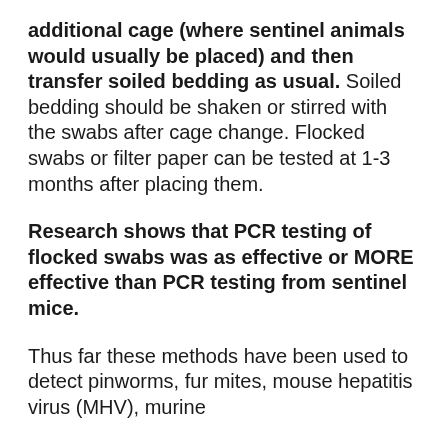additional cage (where sentinel animals would usually be placed) and then transfer soiled bedding as usual. Soiled bedding should be shaken or stirred with the swabs after cage change. Flocked swabs or filter paper can be tested at 1-3 months after placing them.
Research shows that PCR testing of flocked swabs was as effective or MORE effective than PCR testing from sentinel mice.
Thus far these methods have been used to detect pinworms, fur mites, mouse hepatitis virus (MHV), murine